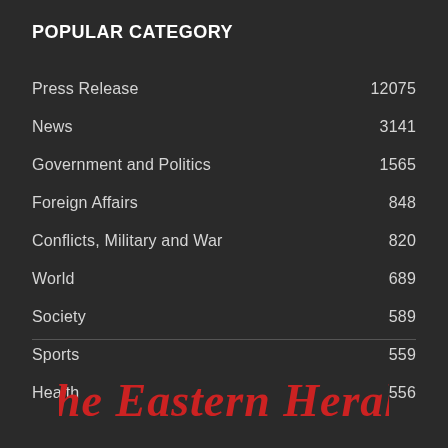POPULAR CATEGORY
Press Release    12075
News    3141
Government and Politics    1565
Foreign Affairs    848
Conflicts, Military and War    820
World    689
Society    589
Sports    559
Health    556
[Figure (logo): The Eastern Herald logo in red gothic/blackletter font at the bottom of the page]